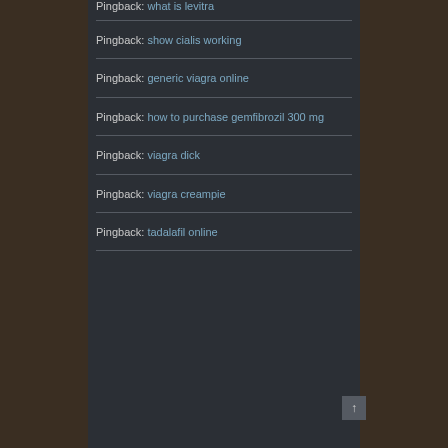Pingback: what is levitra
Pingback: show cialis working
Pingback: generic viagra online
Pingback: how to purchase gemfibrozil 300 mg
Pingback: viagra dick
Pingback: viagra creampie
Pingback: tadalafil online